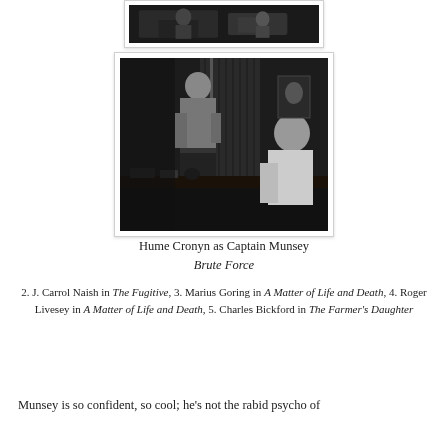[Figure (photo): Partial black-and-white film still at top of page, cropped showing the bottom portion of a scene]
[Figure (photo): Black-and-white film still showing Hume Cronyn as Captain Munsey in Brute Force — a shirtless man stands facing a seated man at a desk in a dim office setting]
Hume Cronyn as Captain Munsey
Brute Force
2. J. Carrol Naish in The Fugitive, 3. Marius Goring in A Matter of Life and Death, 4. Roger Livesey in A Matter of Life and Death, 5. Charles Bickford in The Farmer's Daughter
Munsey is so confident, so cool; he's not the rabid psycho of